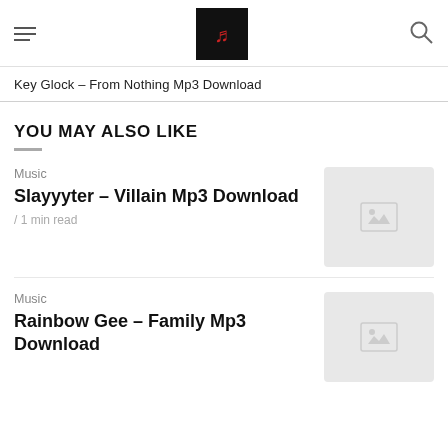Key Glock – From Nothing Mp3 Download
YOU MAY ALSO LIKE
Music
Slayyyter – Villain Mp3 Download
/ 1 min read
[Figure (photo): Placeholder thumbnail image for Slayyyter – Villain Mp3 Download]
Music
Rainbow Gee – Family Mp3 Download
[Figure (photo): Placeholder thumbnail image for Rainbow Gee – Family Mp3 Download]